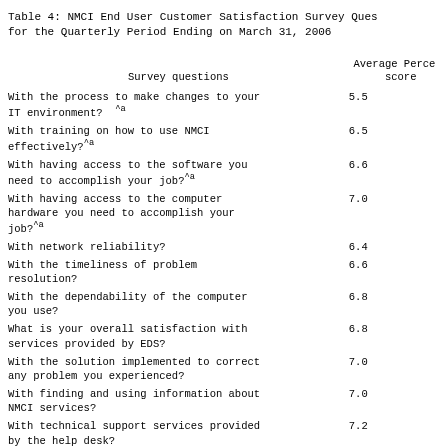Table 4: NMCI End User Customer Satisfaction Survey Questions for the Quarterly Period Ending on March 31, 2006
| Survey questions | Average Percentage score |
| --- | --- |
| With the process to make changes to your IT environment? ^a | 5.5 |
| With training on how to use NMCI effectively?^a | 6.5 |
| With having access to the software you need to accomplish your job?^a | 6.6 |
| With having access to the computer hardware you need to accomplish your job?^a | 7.0 |
| With network reliability? | 6.4 |
| With the timeliness of problem resolution? | 6.6 |
| With the dependability of the computer you use? | 6.8 |
| What is your overall satisfaction with services provided by EDS? | 6.8 |
| With the solution implemented to correct any problem you experienced? | 7.0 |
| With finding and using information about NMCI services? | 7.0 |
| With technical support services provided by the help desk? | 7.2 |
| With the accuracy of information | 7.1 |